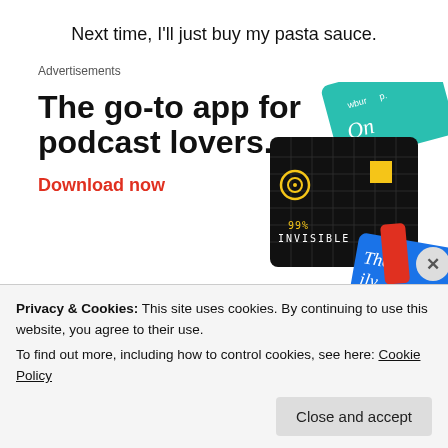Next time, I'll just buy my pasta sauce.
Advertisements
[Figure (illustration): Pocket Casts app advertisement showing podcast artwork cards (99% Invisible black card, a teal card labeled 'wbur' and 'On', a blue card labeled 'The Daily') with bold headline 'The go-to app for podcast lovers.' and red call-to-action 'Download now']
Pocket Casts
Privacy & Cookies: This site uses cookies. By continuing to use this website, you agree to their use.
To find out more, including how to control cookies, see here: Cookie Policy
Close and accept